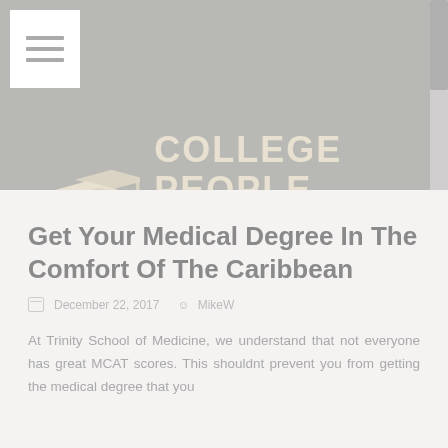[Figure (logo): College People website logo with graduation caps icon and text 'COLLEGE PEOPLE — Because Degree's Matter!' on a grey banner background]
Get Your Medical Degree In The Comfort Of The Caribbean
December 22, 2017  MikeW
At Trinity School of Medicine, we understand that not everyone has great MCAT scores. This shouldnt prevent you from getting the medical degree that you